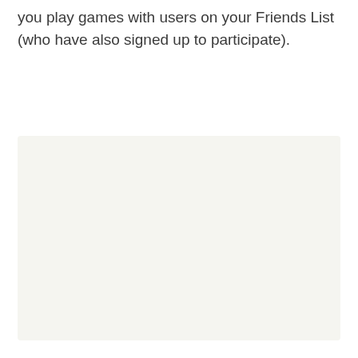you play games with users on your Friends List (who have also signed up to participate).
[Figure (other): A large blank light gray/off-white rectangular area, representing an empty image or placeholder content area.]